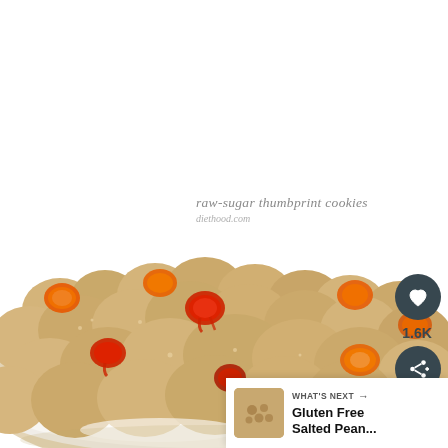[Figure (photo): A plate piled with raw-sugar thumbprint cookies topped with red raspberry jam and orange apricot jam, on a white plate against a white background. The photo fills the lower two-thirds of the image.]
raw-sugar thumbprint cookies
diethood.com
1.6K
WHAT'S NEXT → Gluten Free Salted Pean...